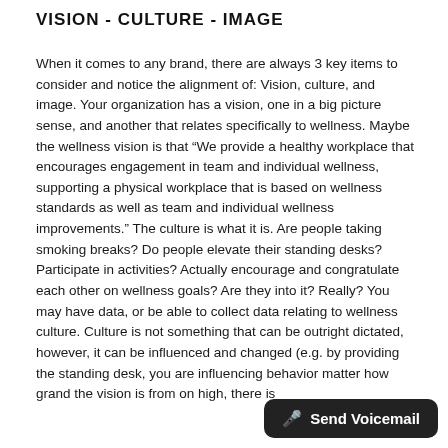VISION - CULTURE - IMAGE
When it comes to any brand, there are always 3 key items to consider and notice the alignment of: Vision, culture, and image. Your organization has a vision, one in a big picture sense, and another that relates specifically to wellness. Maybe the wellness vision is that “We provide a healthy workplace that encourages engagement in team and individual wellness, supporting a physical workplace that is based on wellness standards as well as team and individual wellness improvements.” The culture is what it is. Are people taking smoking breaks? Do people elevate their standing desks? Participate in activities? Actually encourage and congratulate each other on wellness goals? Are they into it? Really? You may have data, or be able to collect data relating to wellness culture. Culture is not something that can be outright dictated, however, it can be influenced and changed (e.g. by providing the standing desk, you are influencing behavior matter how grand the vision is from on high, there is